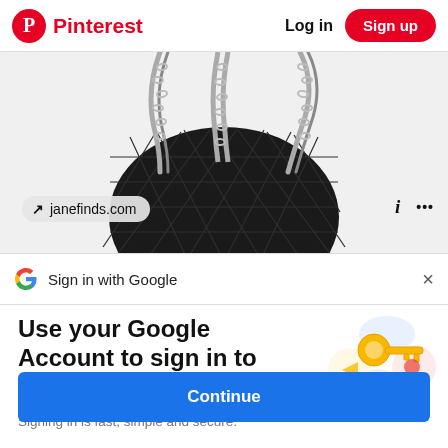Pinterest   Log in   Sign up
[Figure (photo): Black quilted leather Chanel-style handbag with silver chain straps on white background]
↗ janefinds.com
i  ...
Sign in with Google   ×
Use your Google Account to sign in to Pinterest
No more passwords to remember. Signing in is fast, simple and secure.
[Figure (illustration): Google key illustration with colorful circular icons]
Continue